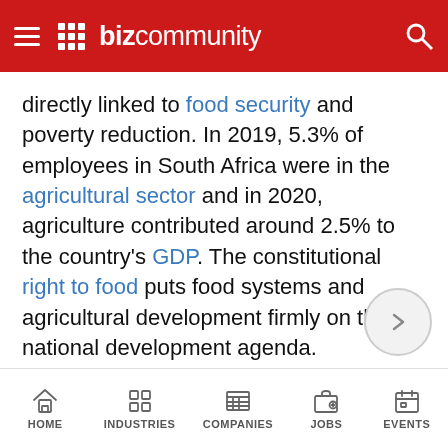Bizcommunity
directly linked to food security and poverty reduction. In 2019, 5.3% of employees in South Africa were in the agricultural sector and in 2020, agriculture contributed around 2.5% to the country's GDP. The constitutional right to food puts food systems and agricultural development firmly on the national development agenda.
HOME | INDUSTRIES | COMPANIES | JOBS | EVENTS